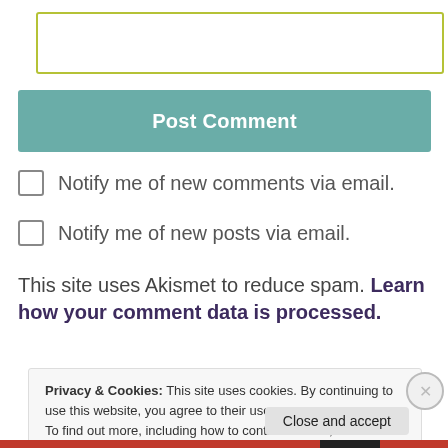[Figure (other): Text input field with olive/yellow-green border]
Post Comment
Notify me of new comments via email.
Notify me of new posts via email.
This site uses Akismet to reduce spam. Learn how your comment data is processed.
Privacy & Cookies: This site uses cookies. By continuing to use this website, you agree to their use.
To find out more, including how to control cookies, see here:
Cookie Policy
Close and accept